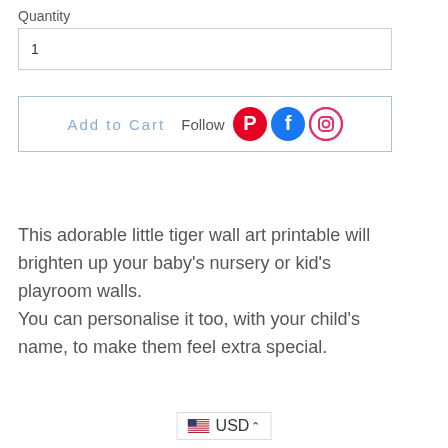Quantity
1
Add to Cart  Follow
This adorable little tiger wall art printable will brighten up your baby's nursery or kid's playroom walls.
You can personalise it too, with your child's name, to make them feel extra special.
USD